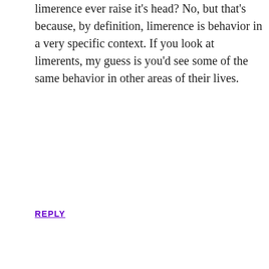limerence ever raise it's head? No, but that's because, by definition, limerence is behavior in a very specific context. If you look at limerents, my guess is you'd see some of the same behavior in other areas of their lives.
REPLY
TarnsDee says JUNE 26, 2022 AT 10:02 AM
I think you have found the answer as to why the world is suffering greater amounts of anxiety. When DnD was trapping the unconsciously susceptible individual into a world of vitamin